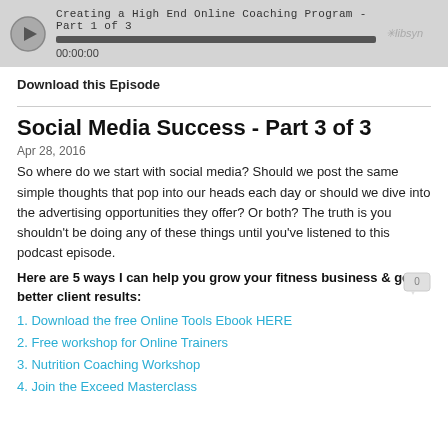[Figure (screenshot): Audio player widget showing 'Creating a High End Online Coaching Program - Part 1 of 3' with play button, progress bar showing 00:00:00, and libsyn logo]
Download this Episode
Social Media Success - Part 3 of 3
Apr 28, 2016
So where do we start with social media? Should we post the same simple thoughts that pop into our heads each day or should we dive into the advertising opportunities they offer? Or both? The truth is you shouldn't be doing any of these things until you've listened to this podcast episode.
Here are 5 ways I can help you grow your fitness business & get better client results:
1. Download the free Online Tools Ebook HERE
2. Free workshop for Online Trainers
3. Nutrition Coaching Workshop
4. Join the Exceed Masterclass